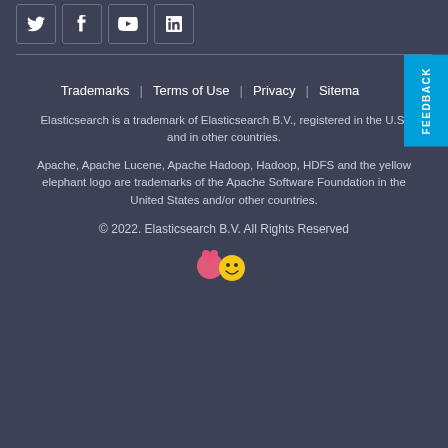[Figure (other): Social media icons: Twitter, Facebook, YouTube, LinkedIn in outlined boxes]
Trademarks | Terms of Use | Privacy | Sitemap
Elasticsearch is a trademark of Elasticsearch B.V., registered in the U.S. and in other countries.
Apache, Apache Lucene, Apache Hadoop, Hadoop, HDFS and the yellow elephant logo are trademarks of the Apache Software Foundation in the United States and/or other countries.
© 2022. Elasticsearch B.V. All Rights Reserved
[Figure (illustration): Emoji / mascot illustration at bottom center]